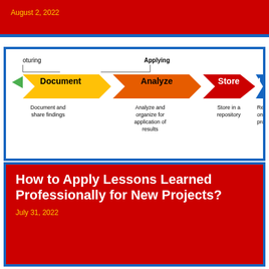August 2, 2022
[Figure (flowchart): Process flowchart showing steps: Document (yellow arrow) -> Analyze (orange arrow) -> Store (red arrow) -> [partially visible blue arrow]. Labels above arrows indicate phases: 'turing', 'Applying'. Below arrows: Document and share findings; Analyze and organize for application of results; Store in a repository; Retrieve on current projects]
How to Apply Lessons Learned Professionally for New Projects?
July 31, 2022